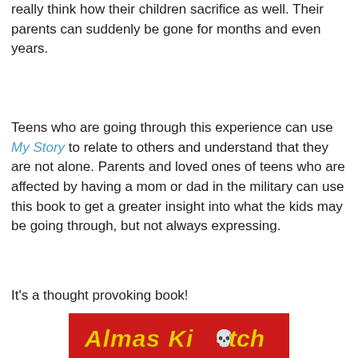really think how their children sacrifice as well. Their parents can suddenly be gone for months and even years.
Teens who are going through this experience can use My Story to relate to others and understand that they are not alone. Parents and loved ones of teens who are affected by having a mom or dad in the military can use this book to get a greater insight into what the kids may be going through, but not always expressing.
It's a thought provoking book!
[Figure (illustration): Book cover with red background showing the title 'Almas Kitch' in yellow italic text with a skull decoration]